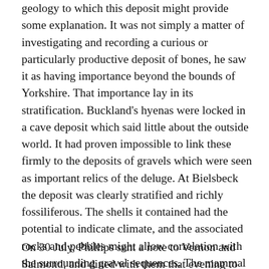geology to which this deposit might provide some explanation. It was not simply a matter of investigating and recording a curious or particularly productive deposit of bones, he saw it as having importance beyond the bounds of Yorkshire. That importance lay in its stratification. Buckland's hyenas were locked in a cave deposit which said little about the outside world. It had proven impossible to link these firmly to the deposits of gravels which were seen as important relics of the deluge. At Bielsbeck the deposit was clearly stratified and richly fossiliferous. The shells it contained had the potential to indicate climate, and the associated rocks and pebbles might allow correlation with the surrounding gravel sequences. The mammal finds, post-Kirkdale, were now seen as a local fauna preserved in its true environment and not merely drifted carcasses.
On 30 July, Phillips sent a note to Vernon and Salmond, and dined with them that evening to discuss the